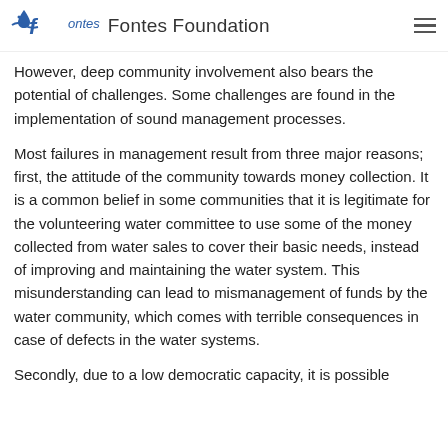Fontes Foundation
However, deep community involvement also bears the potential of challenges. Some challenges are found in the implementation of sound management processes.
Most failures in management result from three major reasons; first, the attitude of the community towards money collection. It is a common belief in some communities that it is legitimate for the volunteering water committee to use some of the money collected from water sales to cover their basic needs, instead of improving and maintaining the water system. This misunderstanding can lead to mismanagement of funds by the water community, which comes with terrible consequences in case of defects in the water systems.
Secondly, due to a low democratic capacity, it is possible